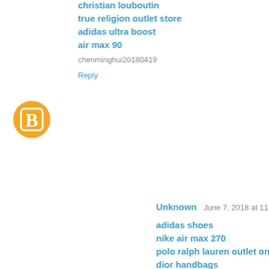christian louboutin
true religion outlet store
adidas ultra boost
air max 90
chenminghui20180419
Reply
[Figure (illustration): Orange circular Blogger avatar icon with white B logo]
Unknown  June 7, 2018 at 11:44 PM
adidas shoes
nike air max 270
polo ralph lauren outlet online
dior handbags
kate spade outlet store
berluti shoes
pandora charms
birkenstock sandals
mcm outlet
converse shoes
cc20180609
Reply